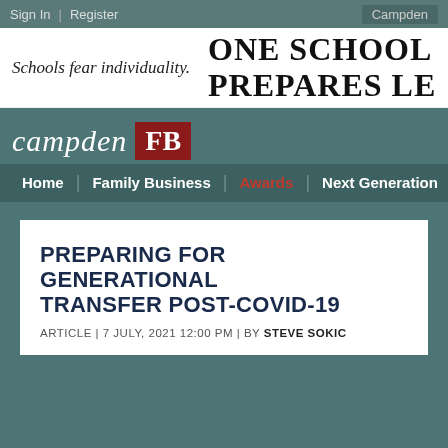Sign In | Register | Campden
[Figure (illustration): Campden FB advertisement banner: 'Schools fear individuality.' on left, 'ONE SCHOOL PREPARES LEADERS' large text on right]
campden FB
Home | Family Business | Awards | Next Generation
PREPARING FOR GENERATIONAL TRANSFER POST-COVID-19
ARTICLE | 7 JULY, 2021 12:00 PM | BY STEVE SOKIC